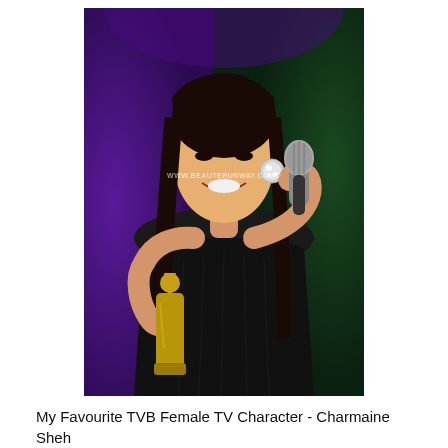[Figure (photo): A woman in a black sleeveless dress holding a microphone and a gold trophy award, smiling on stage. She has long straight dark hair and large round crystal earrings. The background shows purple and green stage lighting. A watermark reads 'WWW.BEAUTERUNWAY.COM©' and a vertical photo credit reads 'Photography by Lee Keen Yew'.]
My Favourite TVB Female TV Character - Charmaine Sheh